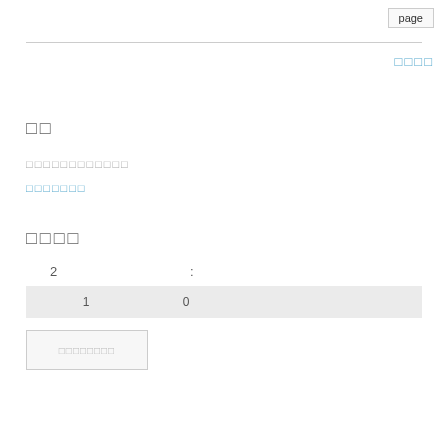page
□□□□
□□
□□□□□□□□□□□□
□□□□□□□
□□□□
2    :
| 1 | 0 |
| --- | --- |
□□□□□□□□